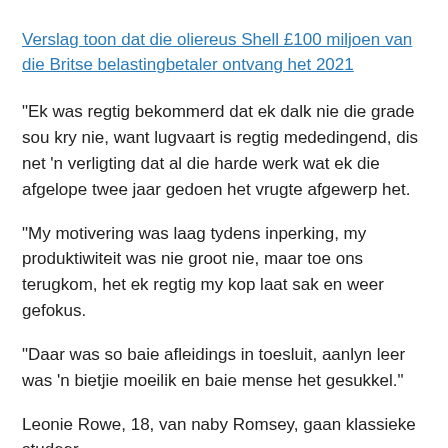Verslag toon dat die oliereus Shell £100 miljoen van die Britse belastingbetaler ontvang het 2021
“Ek was regtig bekommerd dat ek dalk nie die grade sou kry nie, want lugvaart is regtig mededingend, dis net ‘n verligting dat al die harde werk wat ek die afgelope twee jaar gedoen het vrugte afgewerp het.
“My motivering was laag tydens inperking, my produktiwiteit was nie groot nie, maar toe ons terugkom, het ek regtig my kop laat sak en weer gefokus.
“Daar was so baie afleidings in toesluit, aanlyn leer was ‘n bietjie moeilik en baie mense het gesukkel.”
Leonie Rowe, 18, van naby Romsey, gaan klassieke studeer